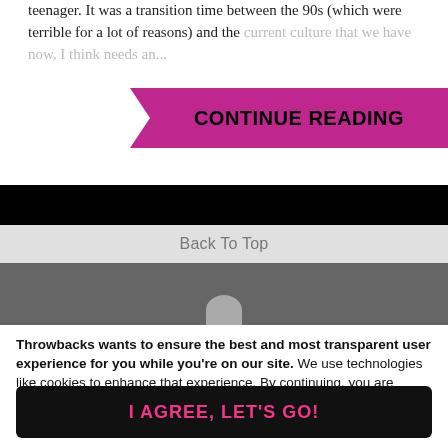teenager. It was a transition time between the 90s (which were terrible for a lot of reasons) and the current culture that we have now, I think needs an...
CONTINUE READING
Back To Top
Throwbacks wants to ensure the best and most transparent user experience for you while you're on our site. We use technologies like cookies to enhance that experience. By continuing, you are agreeing to the use of these technologies. You can read our Privacy Policy to learn more about how your info is used.
I AGREE, LET'S GO!